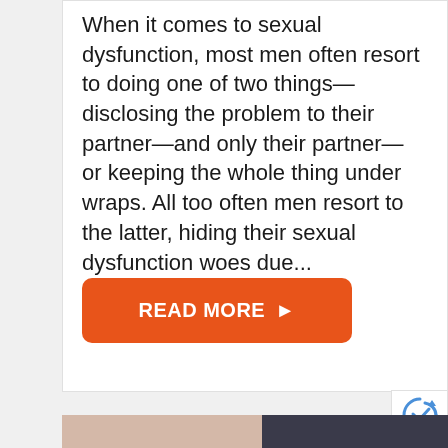When it comes to sexual dysfunction, most men often resort to doing one of two things—disclosing the problem to their partner—and only their partner—or keeping the whole thing under wraps. All too often men resort to the latter, hiding their sexual dysfunction woes due...
[Figure (other): Orange rounded rectangle button with white bold text 'READ MORE' and a right-pointing arrow]
[Figure (photo): Partial view of a person at the bottom of the page, appears to be in a dark jacket]